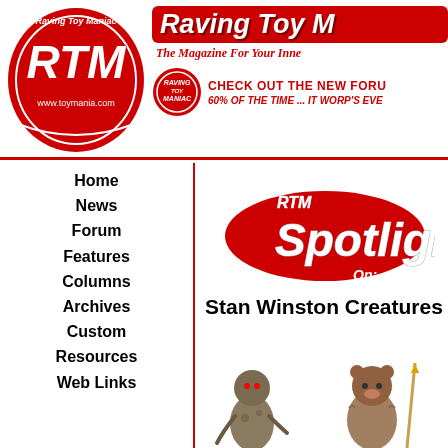[Figure (logo): RTM Raving Toy Maniac circular logo with www.toymania.com, red background with white RTM letters]
[Figure (logo): Raving Toy Maniac banner header in red with white italic bold text, tagline 'The Magazine For Your Inner...']
CHECK OUT THE NEW FORU
60% OF THE TIME ... IT WORP'S EVE
Home
News
Forum
Features
Columns
Archives
Custom
Resources
Web Links
[Figure (logo): RTM Spotlight On: logo with red oval and white italic text]
Stan Winston Creatures
[Figure (illustration): Two Stan Winston creature action figures at the bottom of the page]